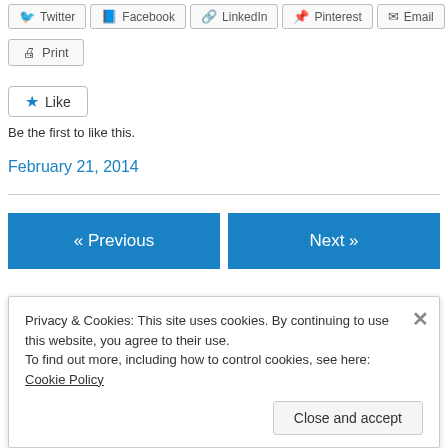[Figure (screenshot): Row of share buttons: Twitter, Facebook, LinkedIn, Pinterest, Email (partially cropped at top)]
[Figure (screenshot): Print button with printer icon]
[Figure (screenshot): Like button with blue star icon]
Be the first to like this.
February 21, 2014
[Figure (screenshot): Navigation buttons: « Previous and Next »]
Privacy & Cookies: This site uses cookies. By continuing to use this website, you agree to their use. To find out more, including how to control cookies, see here: Cookie Policy